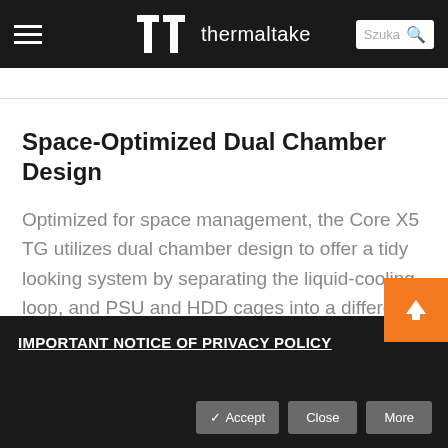thermaltake — navigation bar with hamburger menu and search
Space-Optimized Dual Chamber Design
Optimized for space management, the Core X5 TG utilizes dual chamber design to offer a tidy looking system by separating the liquid-cooling loop, and PSU and HDD cages into a different chamber. The removable 3.5"/2.5" drive device racks give assemblers plenty of flexibility to gain
IMPORTANT NOTICE OF PRIVACY POLICY
✔ Accept  Close  More